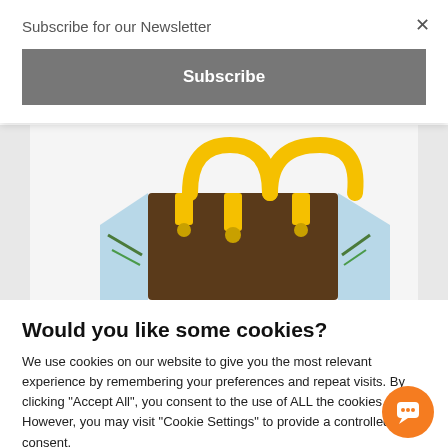Subscribe for our Newsletter
Subscribe
[Figure (photo): Shopping tote bag with yellow handles and tropical/nature print on a light gray background]
Would you like some cookies?
We use cookies on our website to give you the most relevant experience by remembering your preferences and repeat visits. By clicking "Accept All", you consent to the use of ALL the cookies. However, you may visit "Cookie Settings" to provide a controlled consent.
Cookie Settings
Accept All